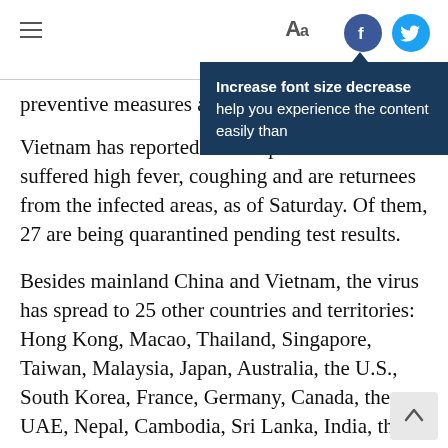Aa [Facebook icon] [Twitter icon]
[Figure (screenshot): Tooltip overlay with dark blue background showing text: 'Increase font size decrease help you experience the content easily than']
preventive measures against the illness.
Vietnam has reported 153 suspected cases who suffered high fever, coughing and are returnees from the infected areas, as of Saturday. Of them, 27 are being quarantined pending test results.
Besides mainland China and Vietnam, the virus has spread to 25 other countries and territories: Hong Kong, Macao, Thailand, Singapore, Taiwan, Malaysia, Japan, Australia, the U.S., South Korea, France, Germany, Canada, the UAE, Nepal, Cambodia, Sri Lanka, India, the Philippines, the U.K., Russia, Finland, Nepal, Sweden, and Spain. It has infected more than 12,000 people and killed 259 in China.